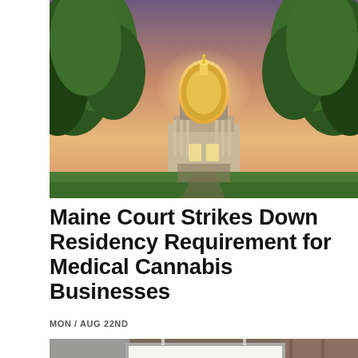[Figure (photo): Illuminated state capitol building at dusk, framed by green trees on either side, with a glowing dome and warm golden lights]
Maine Court Strikes Down Residency Requirement for Medical Cannabis Businesses
MON / AUG 22ND
[Figure (photo): Conference room interior with a long wooden table, black leather chairs, a whiteboard, and wood-paneled walls]